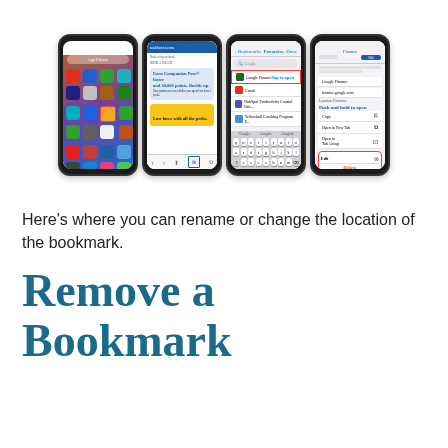[Figure (screenshot): Four iPhone screenshots showing steps: App Library with Safari highlighted, Southwest Airlines website with bookmark icon highlighted, Favorites list with Google Finance highlighted and 'Tap to open' label, and Edit bookmark menu with Edit/Delete options highlighted.]
Here's where you can rename or change the location of the bookmark.
Remove a Bookmark